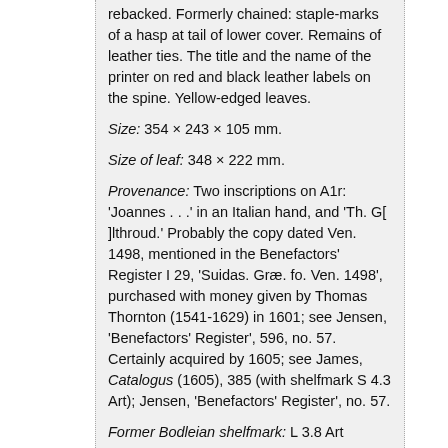rebacked. Formerly chained: staple-marks of a hasp at tail of lower cover. Remains of leather ties. The title and the name of the printer on red and black leather labels on the spine. Yellow-edged leaves.
Size: 354 × 243 × 105 mm.
Size of leaf: 348 × 222 mm.
Provenance: Two inscriptions on A1r: 'Joannes . . .' in an Italian hand, and 'Th. G[ ]lthroud.' Probably the copy dated Ven. 1498, mentioned in the Benefactors' Register I 29, 'Suidas. Græ. fo. Ven. 1498', purchased with money given by Thomas Thornton (1541-1629) in 1601; see Jensen, 'Benefactors' Register', 596, no. 57. Certainly acquired by 1605; see James, Catalogus (1605), 385 (with shelfmark S 4.3 Art); Jensen, 'Benefactors' Register', no. 57.
Former Bodleian shelfmark: L 3.8 Art